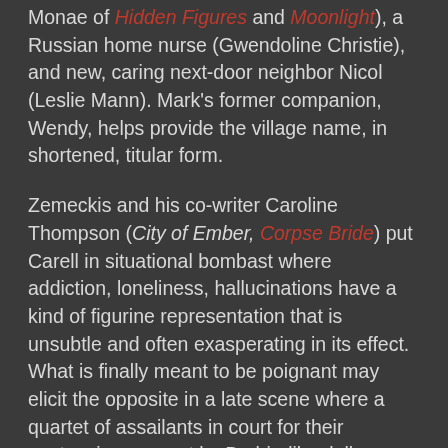Monae of Hidden Figures and Moonlight), a Russian home nurse (Gwendoline Christie), and new, caring next-door neighbor Nicol (Leslie Mann). Mark's former companion, Wendy, helps provide the village name, in shortened, titular form.
Zemeckis and his co-writer Caroline Thompson (City of Ember, Corpse Bride) put Carell in situational bombast where addiction, loneliness, hallucinations have a kind of figurine representation that is unsubtle and often exasperating in its effect. What is finally meant to be poignant may elicit the opposite in a late scene where a quartet of assailants in court for their sentencing are met by Barbie-like dolls (sorry, action figures) arriving by jeep. Audiences may have a similar feeling of being at sea like the attractive red-headed Nicol, with her character traits like the other women hardly shaded at all. That includes the wily, witchy interloper (Diane Kruger) on board to raise